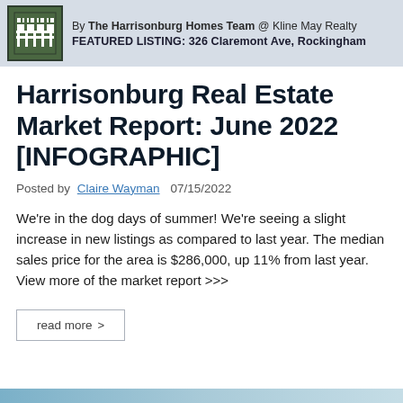By The Harrisonburg Homes Team @ Kline May Realty | FEATURED LISTING: 326 Claremont Ave, Rockingham
Harrisonburg Real Estate Market Report: June 2022 [INFOGRAPHIC]
Posted by Claire Wayman   07/15/2022
We're in the dog days of summer! We're seeing a slight increase in new listings as compared to last year. The median sales price for the area is $286,000, up 11% from last year. View more of the market report >>>
read more >